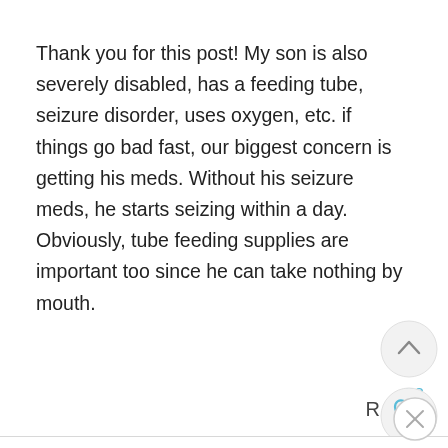Thank you for this post! My son is also severely disabled, has a feeding tube, seizure disorder, uses oxygen, etc. if things go bad fast, our biggest concern is getting his meds. Without his seizure meds, he starts seizing within a day. Obviously, tube feeding supplies are important too since he can take nothing by mouth.
52
R
AVGOKIEMOM
FEBRUARY 1, 2013 AT 2:11 PM